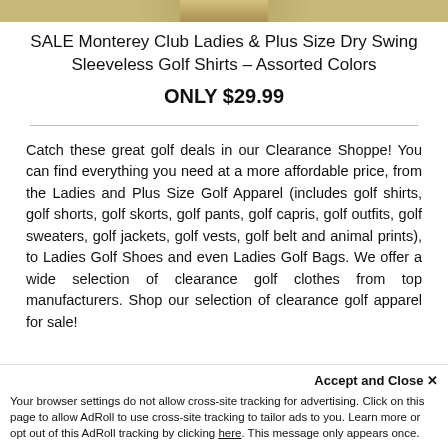[Figure (photo): Partial product image of a golf shirt, cropped at the top]
SALE Monterey Club Ladies & Plus Size Dry Swing Sleeveless Golf Shirts – Assorted Colors
ONLY $29.99
Catch these great golf deals in our Clearance Shoppe! You can find everything you need at a more affordable price, from the Ladies and Plus Size Golf Apparel (includes golf shirts, golf shorts, golf skorts, golf pants, golf capris, golf outfits, golf sweaters, golf jackets, golf vests, golf belt and animal prints), to Ladies Golf Shoes and even Ladies Golf Bags. We offer a wide selection of clearance golf clothes from top manufacturers. Shop our selection of clearance golf apparel for sale!
Accept and Close ✕ Your browser settings do not allow cross-site tracking for advertising. Click on this page to allow AdRoll to use cross-site tracking to tailor ads to you. Learn more or opt out of this AdRoll tracking by clicking here. This message only appears once.